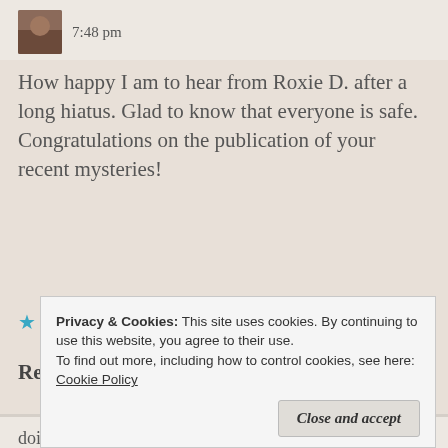7:48 pm
How happy I am to hear from Roxie D. after a long hiatus. Glad to know that everyone is safe. Congratulations on the publication of your recent mysteries!
★ Liked by 1 person
Reply
Privacy & Cookies: This site uses cookies. By continuing to use this website, you agree to their use.
To find out more, including how to control cookies, see here: Cookie Policy
Close and accept
doing well here in South County and starting to